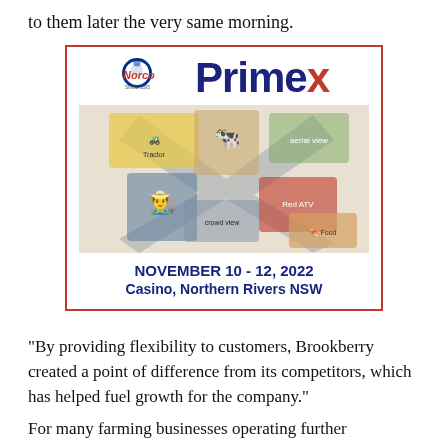to them later the very same morning.
[Figure (illustration): Norco Primex advertisement. Shows the Norco logo alongside the Primex logo in large navy and red text. Below is a composite image shaped like an X showing farming scenes including a tractor, a cow, a farmer, a red ATV, and aerial views of crowds/events. Text reads: NOVEMBER 10 - 12, 2022 / Casino, Northern Rivers NSW]
“By providing flexibility to customers, Brookberry created a point of difference from its competitors, which has helped fuel growth for the company.”
For many farming businesses operating further